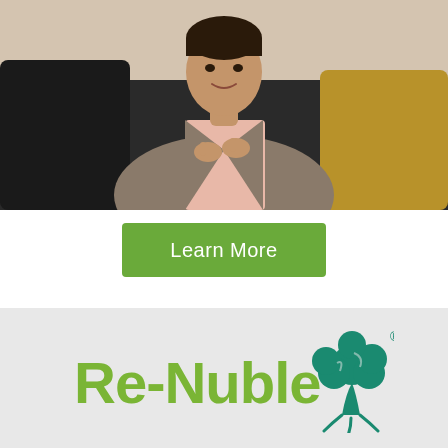[Figure (photo): Person in a light pink shirt and grey blazer seated on a dark sofa with black and gold/mustard pillows, making a hand gesture, visible from chest up, cropped at top]
Learn More
[Figure (logo): Re-Nuble logo: green stylized tree with round foliage on the right, and green bold text 'Re-Nuble' on the left, with a registered trademark symbol, on a light grey background]